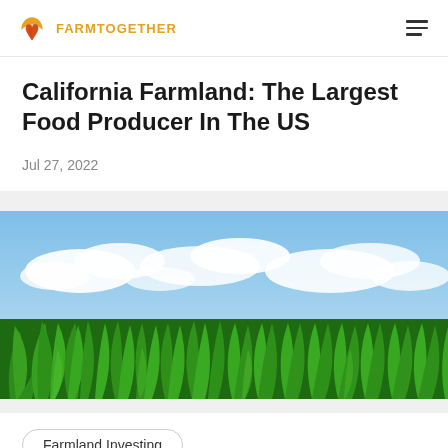FARMTOGETHER
California Farmland: The Largest Food Producer In The US
Jul 27, 2022
[Figure (photo): Green corn field with large broad leaves against a bright blue sky with white clouds]
Farmland Investing